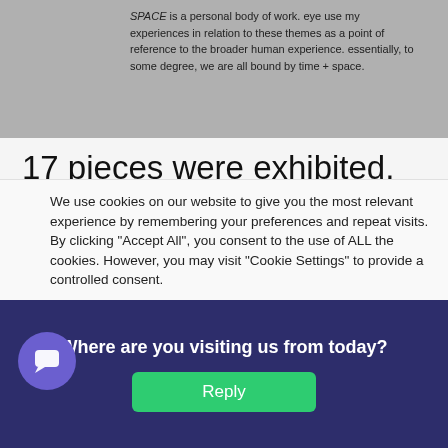[Figure (screenshot): Grey background image area with text overlay about SPACE being a personal body of work]
SPACE is a personal body of work. eye use my experiences in relation to these themes as a point of reference to the broader human experience. essentially, to some degree, we are all bound by time + space.
17 pieces were exhibited, 15 of which were on display for the first time. Though all the pieces demanded that you stop and stay with them for a while, I found myself most drawn to the biggest canvas in the centre of the room. My personal favourite 'Sabali's Virtue,' is a strong personification of the artist's antagonism with the
We use cookies on our website to give you the most relevant experience by remembering your preferences and repeat visits. By clicking "Accept All", you consent to the use of ALL the cookies. However, you may visit "Cookie Settings" to provide a controlled consent.
Where are you visiting us from today?
Reply